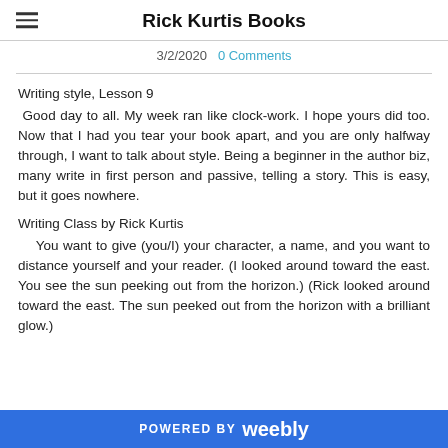Rick Kurtis Books
3/2/2020  0 Comments
Writing style, Lesson 9
 Good day to all. My week ran like clock-work. I hope yours did too. Now that I had you tear your book apart, and you are only halfway through, I want to talk about style. Being a beginner in the author biz, many write in first person and passive, telling a story. This is easy, but it goes nowhere.
Writing Class by Rick Kurtis
    You want to give (you/I) your character, a name, and you want to distance yourself and your reader. (I looked around toward the east. You see the sun peeking out from the horizon.) (Rick looked around toward the east. The sun peeked out from the horizon with a brilliant glow.)
POWERED BY weebly